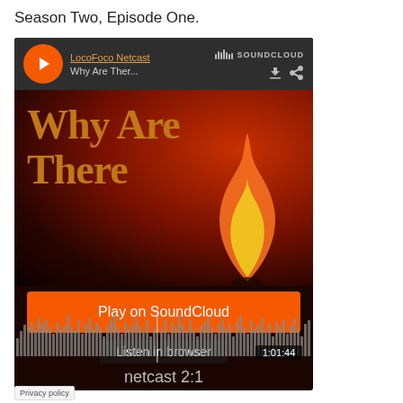Season Two, Episode One.
[Figure (screenshot): SoundCloud embedded player showing 'LocoFoco Netcast' episode titled 'Why Are There' with a flame background, Play on SoundCloud button, Listen in browser option, waveform display showing 1:01:44 duration, and 'netcast 2:1' label at bottom. Privacy policy link visible at lower left.]